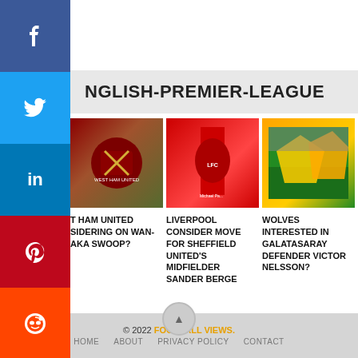NGLISH-PREMIER-LEAGUE
[Figure (photo): West Ham United badge/crest photo]
T HAM UNITED SIDERING ON WAN-AKA SWOOP?
[Figure (photo): Liverpool FC flag/banner at stadium]
LIVERPOOL CONSIDER MOVE FOR SHEFFIELD UNITED'S MIDFIELDER SANDER BERGE
[Figure (photo): Wolves fans waving yellow flags in stadium]
WOLVES INTERESTED IN GALATASARAY DEFENDER VICTOR NELSSON?
© 2022 FOOTBALL VIEWS. HOME ABOUT PRIVACY POLICY CONTACT